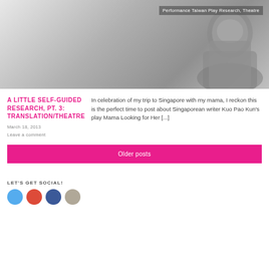[Figure (photo): Black and white photo of a man smiling, wearing a striped shirt, with a semi-transparent tag overlay reading 'Performance, Taiwan Play Research, Theatre']
A LITTLE SELF-GUIDED RESEARCH, PT. 3: TRANSLATION/THEATRE
March 18, 2013
Leave a comment
In celebration of my trip to Singapore with my mama, I reckon this is the perfect time to post about Singaporean writer Kuo Pao Kun's play Mama Looking for Her [...]
Older posts
LET'S GET SOCIAL!